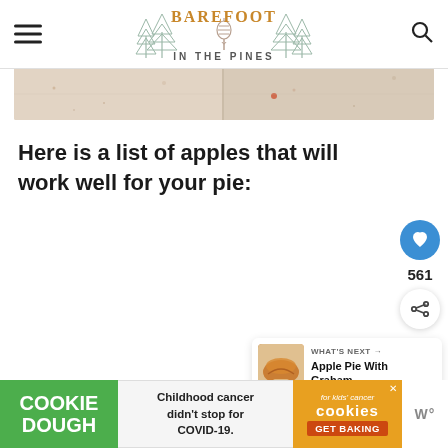Barefoot in the Pines
[Figure (photo): Close-up of a marble or light-colored stone/countertop surface, split into two panels by a vertical line. Light tan and cream tones with subtle speckles.]
Here is a list of apples that will work well for your pie:
[Figure (infographic): Social sidebar with heart/save button (blue circle, 561 count) and share button]
[Figure (infographic): What's Next card: thumbnail of apple pie, label 'WHAT'S NEXT →', title 'Apple Pie With Graham...']
[Figure (infographic): Advertisement banner: Cookie Dough brand ad. Green block with 'COOKIE DOUGH', white block with 'Childhood cancer didn't stop for COVID-19.', orange block with 'cookies for kids cancer GET BAKING' and close X button. Rightside 'W°' logo.]